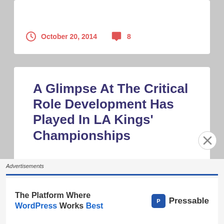October 20, 2014   8
A Glimpse At The Critical Role Development Has Played In LA Kings' Championships
2014 DEVELOPMENT CAMP: Frozen Royalty begins its coverage of the Los Angeles Kings' 2014 Development Camp with a story on what the team
Advertisements
The Platform Where WordPress Works Best   Pressable